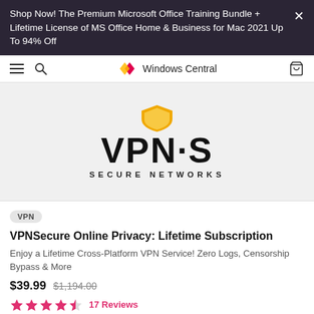Shop Now! The Premium Microsoft Office Training Bundle + Lifetime License of MS Office Home & Business for Mac 2021 Up To 94% Off
[Figure (logo): Windows Central logo with diamond icons and text]
[Figure (logo): VPN·S Secure Networks logo with gold shield icon and bold VPN·S text]
VPN
VPNSecure Online Privacy: Lifetime Subscription
Enjoy a Lifetime Cross-Platform VPN Service! Zero Logs, Censorship Bypass & More
$39.99  $1,194.00
17 Reviews